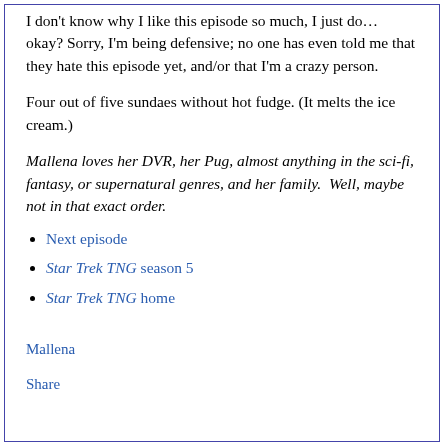I don't know why I like this episode so much, I just do… okay? Sorry, I'm being defensive; no one has even told me that they hate this episode yet, and/or that I'm a crazy person.
Four out of five sundaes without hot fudge. (It melts the ice cream.)
Mallena loves her DVR, her Pug, almost anything in the sci-fi, fantasy, or supernatural genres, and her family.  Well, maybe not in that exact order.
Next episode
Star Trek TNG season 5
Star Trek TNG home
Mallena
Share